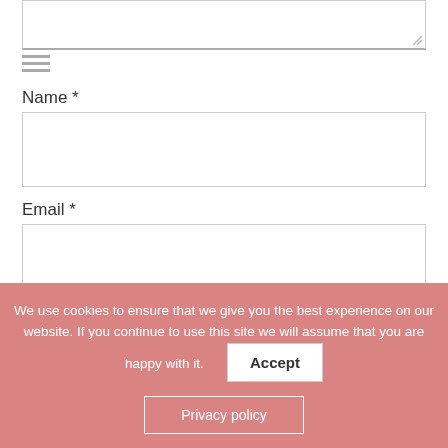Name *
[Figure (screenshot): Text input field for Name]
Email *
[Figure (screenshot): Text input field for Email]
Website
[Figure (screenshot): Text input field for Website]
We use cookies to ensure that we give you the best experience on our website. If you continue to use this site we will assume that you are happy with it.
Accept
Privacy policy